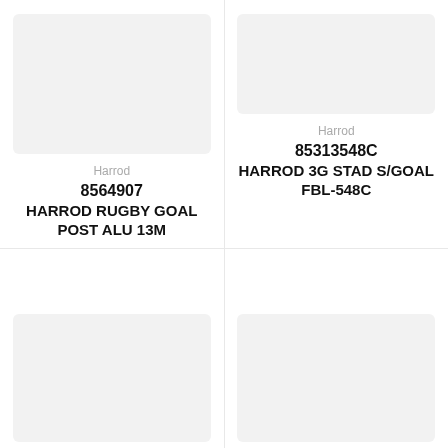[Figure (photo): Product image placeholder for Harrod Rugby Goal Post ALU 13M, light grey rectangle]
Harrod
8564907
HARROD RUGBY GOAL POST ALU 13M
[Figure (photo): Product image placeholder for Harrod 3G STAD S/GOAL FBL-548C, light grey rectangle]
Harrod
85313548C
HARROD 3G STAD S/GOAL FBL-548C
[Figure (photo): Product image placeholder bottom left, light grey rectangle]
[Figure (photo): Product image placeholder bottom right, light grey rectangle]